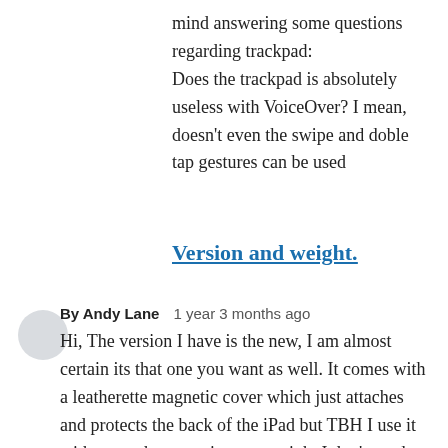mind answering some questions regarding trackpad: Does the trackpad is absolutely useless with VoiceOver? I mean, doesn't even the swipe and doble tap gestures can be used
Version and weight.
By Andy Lane   1 year 3 months ago
Hi, The version I have is the new, I am almost certain its that one you want as well. It comes with a leatherette magnetic cover which just attaches and protects the back of the iPad but TBH I use it without as the cover is more weight I don't need and I have come to think of this